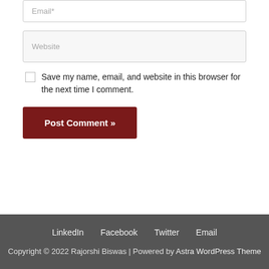[Figure (screenshot): Email input field with placeholder text 'Email*']
[Figure (screenshot): Website input field with placeholder text 'Website' on light gray background]
Save my name, email, and website in this browser for the next time I comment.
[Figure (screenshot): Dark red 'Post Comment »' button]
LinkedIn   Facebook   Twitter   Email
Copyright © 2022 Rajorshi Biswas | Powered by Astra WordPress Theme